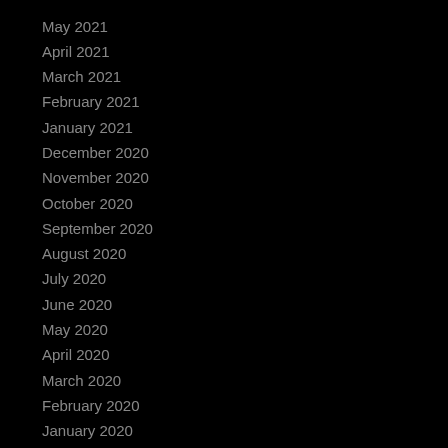May 2021
April 2021
March 2021
February 2021
January 2021
December 2020
November 2020
October 2020
September 2020
August 2020
July 2020
June 2020
May 2020
April 2020
March 2020
February 2020
January 2020
December 2019
November 2019
October 2019
September 2019
August 2019
July 2019
June 2019